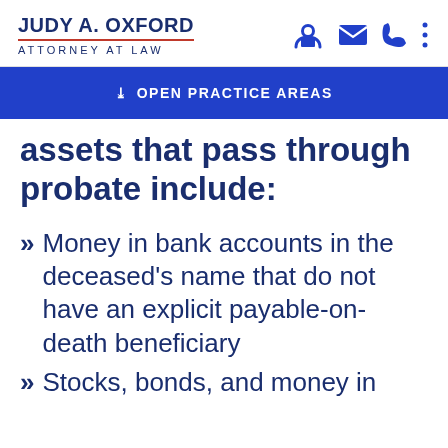JUDY A. OXFORD ATTORNEY AT LAW
OPEN PRACTICE AREAS
assets that pass through probate include:
Money in bank accounts in the deceased's name that do not have an explicit payable-on-death beneficiary
Stocks, bonds, and money in